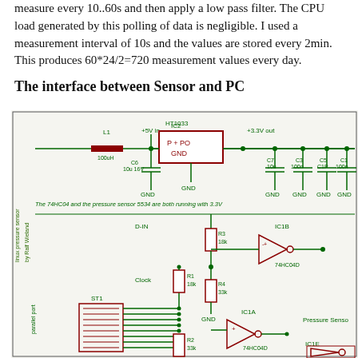measure every 10..60s and then apply a low pass filter. The CPU load generated by this polling of data is negligible. I used a measurement interval of 10s and the values are stored every 2min. This produces 60*24/2=720 measurement values every day.
The interface between Sensor and PC
[Figure (circuit-diagram): Electronic circuit schematic showing a Linux pressure sensor interface to a PC via parallel port. Components include: L1 (100uH inductor), IC2 HT1033 voltage regulator (+5V in to +3.3V out), capacitors C6 (10u 16V), C7 (10u), C3 (100n), C5 (C1P), C1 (100n), op-amp IC1B and IC1A (74HC04D), resistors R3 (18k), R4 (33k), R1 (18k), R2 (33k), ST1 connector (parallel port interface), IC1E op-amp, with GND connections. Note: The 74HC04 and the pressure sensor 5534 are both running with 3.3V.]